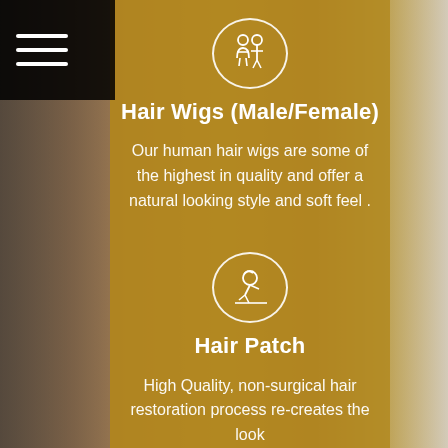[Figure (illustration): Man's face close-up as background with golden/amber overlay]
[Figure (illustration): Black menu bar top-left with three horizontal white lines (hamburger menu)]
[Figure (illustration): Icon circle with male and female figures inside]
Hair Wigs (Male/Female)
Our human hair wigs are some of the highest in quality and offer a natural looking style and soft feel .
[Figure (illustration): Icon circle with hair patch / person with hair restoration figure inside]
Hair Patch
High Quality, non-surgical hair restoration process re-creates the look